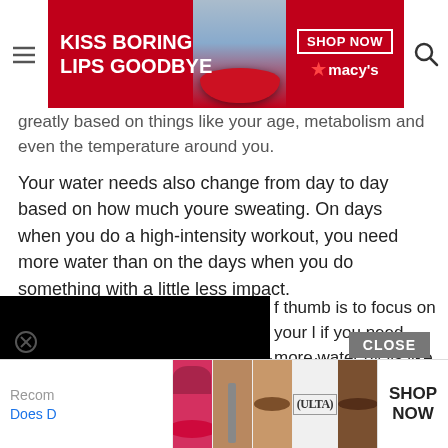[Figure (screenshot): Macy's advertisement banner: 'KISS BORING LIPS GOODBYE' with red background, woman's face, SHOP NOW button and Macy's star logo]
greatly based on things like your age, metabolism and even the temperature around you.
Your water needs also change from day to day based on how much youre sweating. On days when you do a high-intensity workout, you need more water than on the days when you do something with a little less impact.
[Figure (screenshot): Black video player overlay covering left portion of screen]
f thumb is to focus on your l if you need more water by lls like. If your urine is pale or odor, its likely that youre properly hydrated. If its dark yellow with a strong ammonia odor, you need to drink more water.
[Figure (screenshot): CLOSE button (dark grey) and Ulta Beauty advertisement banner at bottom with makeup product images and SHOP NOW button]
Recom
Does D